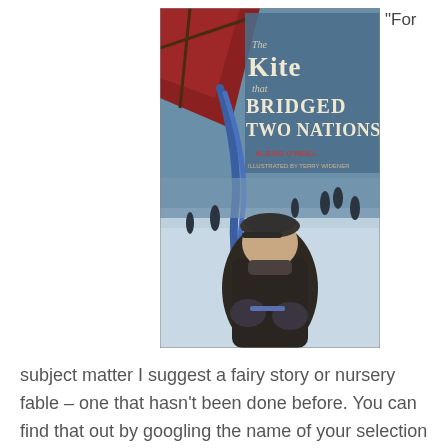"For
[Figure (illustration): Book cover of 'The Kite that Bridged Two Nations' by Alexis O'Neill, illustrated by Terry Widener. Shows a boy in winter clothing holding a blue ribbon/string against a snowy landscape background, with a red kite visible at top left. Decorative script title text on a blue sky background.]
subject matter I suggest a fairy story or nursery fable – one that hasn't been done before. You can find that out by googling the name of your selection and see if it has been done. There is